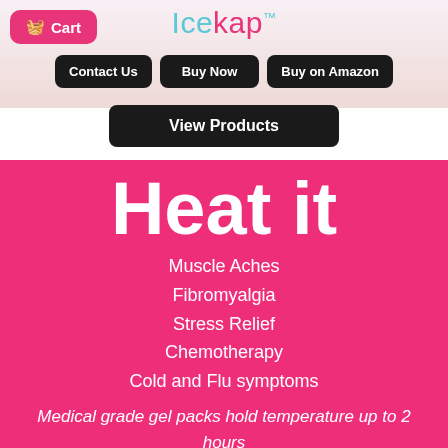Cart | Icekap™
[Figure (screenshot): Navigation bar with Cart button, Icekap logo, Contact Us, Buy Now, Buy on Amazon buttons, and View Products button]
Heat it
Muscle Aches
Fibromyalgia
Stress Relief
Chemotherapy
Cold and Flu symptoms
Medical grade gel packs hold temperature up to 2 hours